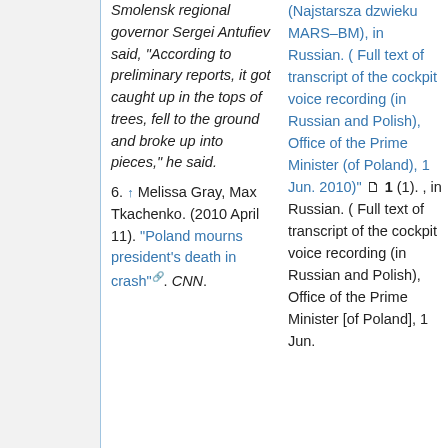Smolensk regional governor Sergei Antufiev said, "According to preliminary reports, it got caught up in the tops of trees, fell to the ground and broke up into pieces," he said.
6. ↑ Melissa Gray, Max Tkachenko. (2010 April 11). "Poland mourns president's death in crash". CNN.
(Najstarsza dzwieku MARS–BM), in Russian. ( Full text of transcript of the cockpit voice recording (in Russian and Polish), Office of the Prime Minister (of Poland), 1 Jun. 2010)" 1 (1). , in Russian. ( Full text of transcript of the cockpit voice recording (in Russian and Polish), Office of the Prime Minister [of Poland], 1 Jun.